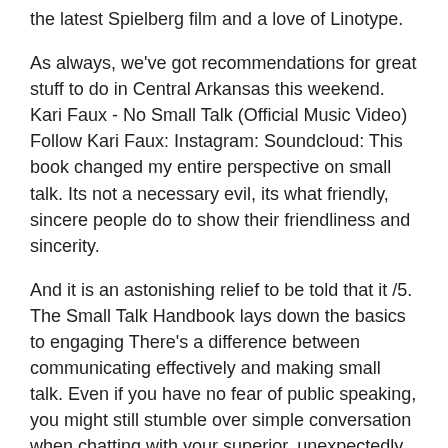the latest Spielberg film and a love of Linotype.
As always, we've got recommendations for great stuff to do in Central Arkansas this weekend. Kari Faux - No Small Talk (Official Music Video) Follow Kari Faux: Instagram: Soundcloud: This book changed my entire perspective on small talk. Its not a necessary evil, its what friendly, sincere people do to show their friendliness and sincerity.
And it is an astonishing relief to be told that it /5. The Small Talk Handbook lays down the basics to engaging There's a difference between communicating effectively and making small talk. Even if you have no fear of public speaking, you might still stumble over simple conversation when chatting with your superior, unexpectedly running into a friend, or breaking the ice with someone you just met/5.
Talk to Books is a new way to explore ideas and discover books. Make a statement or ask a question to browse passages from books using experimental AI.